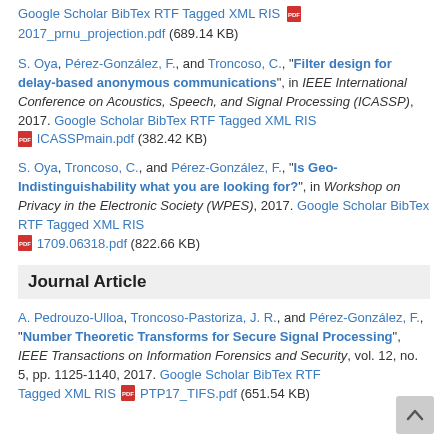Google Scholar BibTex RTF Tagged XML RIS 2017_prnu_projection.pdf (689.14 KB)
S. Oya, Pérez-González, F., and Troncoso, C., "Filter design for delay-based anonymous communications", in IEEE International Conference on Acoustics, Speech, and Signal Processing (ICASSP), 2017. Google Scholar BibTex RTF Tagged XML RIS ICASSPmain.pdf (382.42 KB)
S. Oya, Troncoso, C., and Pérez-González, F., "Is Geo-Indistinguishability what you are looking for?", in Workshop on Privacy in the Electronic Society (WPES), 2017. Google Scholar BibTex RTF Tagged XML RIS 1709.06318.pdf (822.66 KB)
Journal Article
A. Pedrouzo-Ulloa, Troncoso-Pastoriza, J. R., and Pérez-González, F., "Number Theoretic Transforms for Secure Signal Processing", IEEE Transactions on Information Forensics and Security, vol. 12, no. 5, pp. 1125-1140, 2017. Google Scholar BibTex RTF Tagged XML RIS PTP17_TIFS.pdf (651.54 KB)